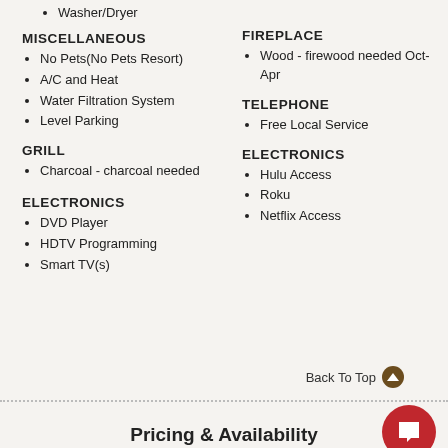Washer/Dryer
MISCELLANEOUS
No Pets(No Pets Resort)
A/C and Heat
Water Filtration System
Level Parking
GRILL
Charcoal - charcoal needed
ELECTRONICS
DVD Player
HDTV Programming
Smart TV(s)
FIREPLACE
Wood - firewood needed Oct-Apr
TELEPHONE
Free Local Service
ELECTRONICS
Hulu Access
Roku
Netflix Access
Back To Top
Pricing & Availability